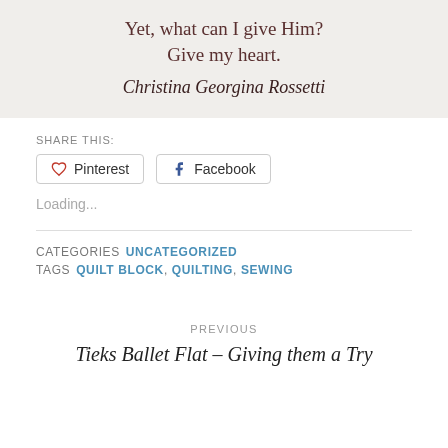Yet, what can I give Him?
Give my heart.
Christina Georgina Rossetti
SHARE THIS:
Loading...
CATEGORIES UNCATEGORIZED
TAGS QUILT BLOCK, QUILTING, SEWING
PREVIOUS
Tieks Ballet Flat – Giving them a Try